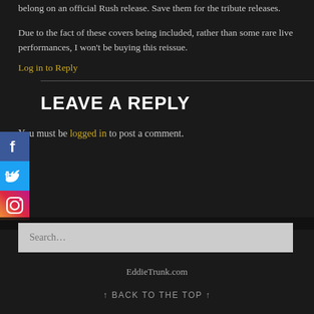belong on an official Rush release. Save them for the tribute releases.
Due to the fact of these covers being included, rather than some rare live performances, I won't be buying this reissue.
Log in to Reply
LEAVE A REPLY
You must be logged in to post a comment.
Search…
EddieTrunk.com
↑ BACK TO THE TOP ↑